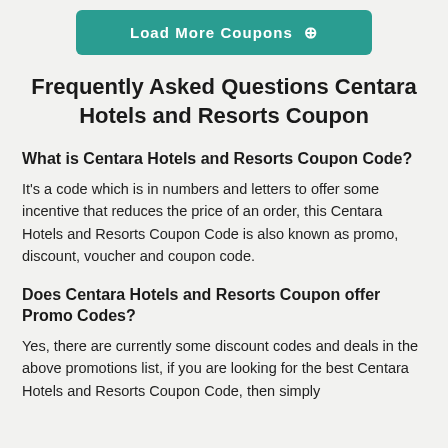[Figure (other): Teal button labeled 'Load More Coupons' with a circular arrow icon]
Frequently Asked Questions Centara Hotels and Resorts Coupon
What is Centara Hotels and Resorts Coupon Code?
It's a code which is in numbers and letters to offer some incentive that reduces the price of an order, this Centara Hotels and Resorts Coupon Code is also known as promo, discount, voucher and coupon code.
Does Centara Hotels and Resorts Coupon offer Promo Codes?
Yes, there are currently some discount codes and deals in the above promotions list, if you are looking for the best Centara Hotels and Resorts Coupon Code, then simply